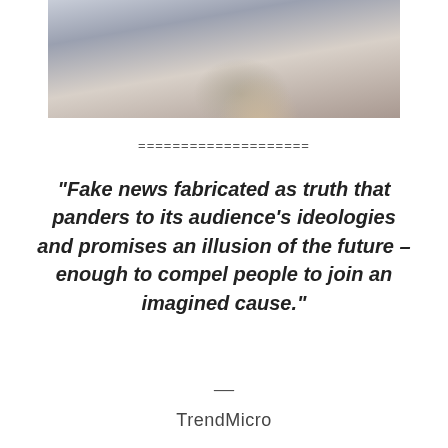[Figure (photo): Partial photo of a person in a grey/blue striped shirt, appearing to be in a thoughtful or frustrated pose, cropped at the top of the page]
====================
"Fake news fabricated as truth that panders to its audience's ideologies and promises an illusion of the future – enough to compel people to join an imagined cause."
—
TrendMicro